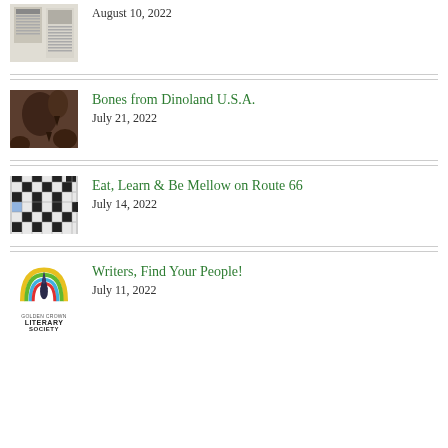August 10, 2022
Bones from Dinoland U.S.A.
July 21, 2022
Eat, Learn & Be Mellow on Route 66
July 14, 2022
Writers, Find Your People!
July 11, 2022